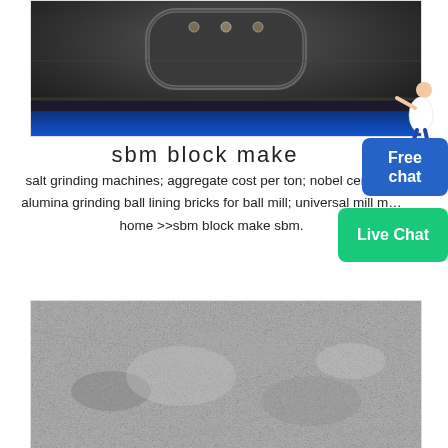[Figure (photo): Close-up photo of industrial machinery with dark metal surface and a rounded rectangular hatch door with bolts, with blue lighting visible at the bottom]
sbm block make
salt grinding machines; aggregate cost per ton; nobel ceramics; alumina grinding ball lining bricks for ball mill; universal mill m… home >>sbm block make sbm.
[Figure (photo): Close-up photo of rough gray granular surface, resembling concrete blocks or aggregate material texture]